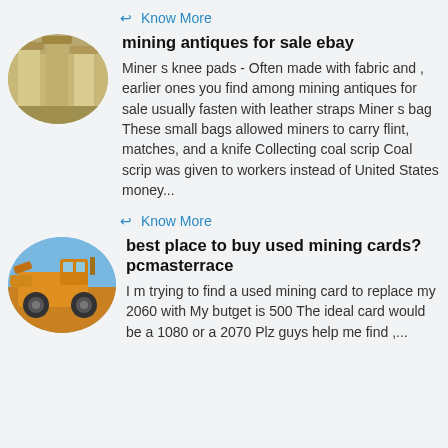↩ Know More
[Figure (photo): Oval thumbnail photo of industrial silos or tanks, yellowish/beige industrial structures]
mining antiques for sale ebay
Miner s knee pads - Often made with fabric and , earlier ones you find among mining antiques for sale usually fasten with leather straps Miner s bag These small bags allowed miners to carry flint, matches, and a knife Collecting coal scrip Coal scrip was given to workers instead of United States money...
↩ Know More
[Figure (photo): Oval thumbnail photo of yellow mining/construction vehicle (front loader or bulldozer)]
best place to buy used mining cards? pcmasterrace
I m trying to find a used mining card to replace my 2060 with My butget is 500 The ideal card would be a 1080 or a 2070 Plz guys help me find ,...